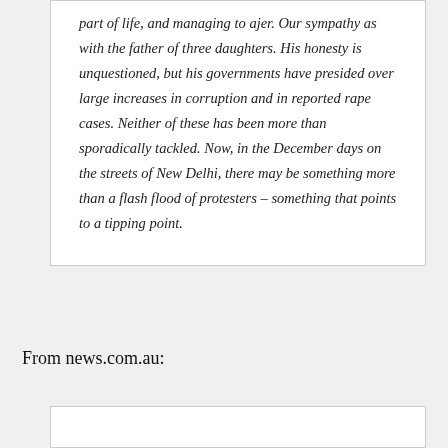part of life, and managing to ajer. Our sympathy as with the father of three daughters. His honesty is unquestioned, but his governments have presided over large increases in corruption and in reported rape cases. Neither of these has been more than sporadically tackled. Now, in the December days on the streets of New Delhi, there may be something more than a flash flood of protesters – something that points to a tipping point.
From news.com.au: